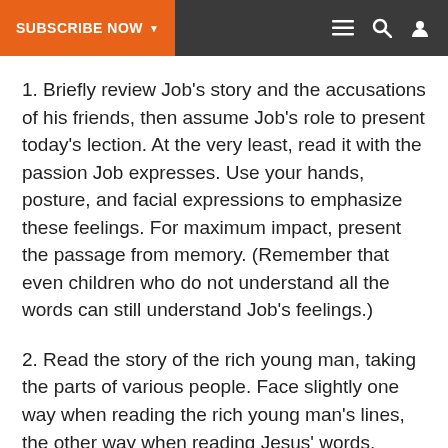SUBSCRIBE NOW
1. Briefly review Job's story and the accusations of his friends, then assume Job's role to present today's lection. At the very least, read it with the passion Job expresses. Use your hands, posture, and facial expressions to emphasize these feelings. For maximum impact, present the passage from memory. (Remember that even children who do not understand all the words can still understand Job's feelings.)
2. Read the story of the rich young man, taking the parts of various people. Face slightly one way when reading the rich young man's lines, the other way when reading Jesus' words. Speak directly to the